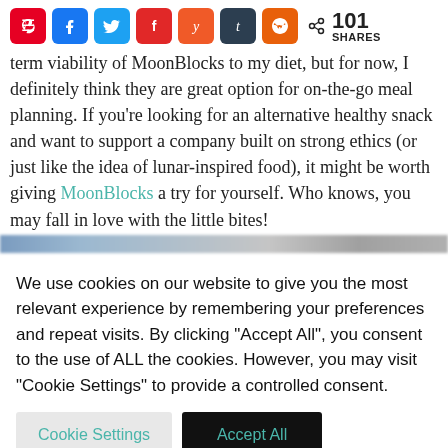[Figure (infographic): Social share bar with icons for Pinterest, Facebook, Twitter, Flipboard, Yummly, Tumblr, Reddit, and a share count of 101 SHARES]
term viability of MoonBlocks to my diet, but for now, I definitely think they are great option for on-the-go meal planning. If you're looking for an alternative healthy snack and want to support a company built on strong ethics (or just like the idea of lunar-inspired food), it might be worth giving MoonBlocks a try for yourself. Who knows, you may fall in love with the little bites!
We use cookies on our website to give you the most relevant experience by remembering your preferences and repeat visits. By clicking "Accept All", you consent to the use of ALL the cookies. However, you may visit "Cookie Settings" to provide a controlled consent.